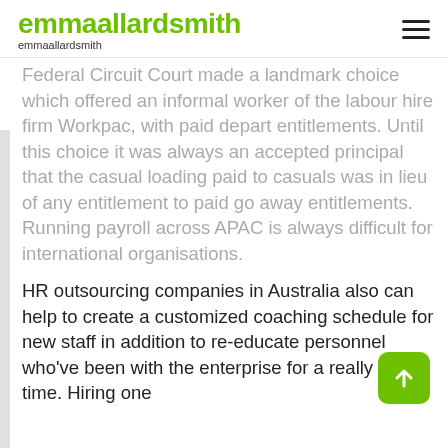emmaallardsmith
emmaallardsmith
Federal Circuit Court made a landmark choice which offered an informal worker of the labour hire firm Workpac, with paid depart entitlements. Until this choice it was always an accepted principal that the casual loading paid to casuals was in lieu of any entitlement to paid go away entitlements. Running payroll across APAC is always difficult for international organisations.
HR outsourcing companies in Australia also can help to create a customized coaching schedule for new staff in addition to re-educate personnel who've been with the enterprise for a really long time. Hiring one